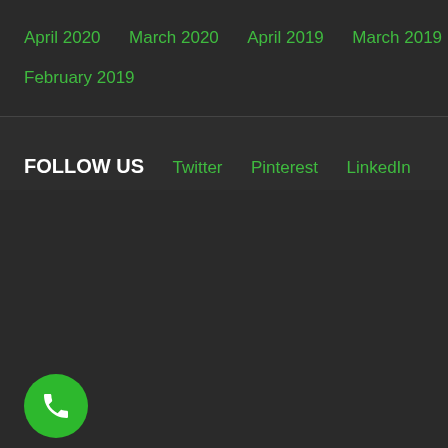April 2020
March 2020
April 2019
March 2019
February 2019
FOLLOW US
Twitter
Pinterest
LinkedIn